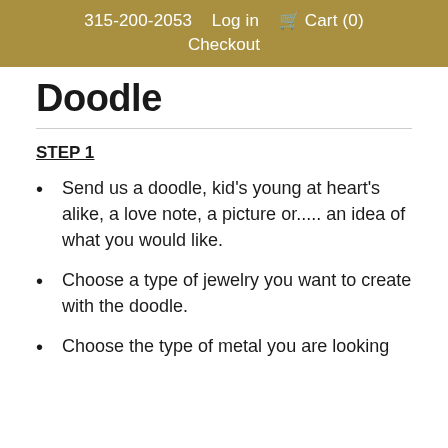315-200-2053   Log in   Cart (0)   Checkout
Doodle
STEP 1
Send us a doodle, kid's young at heart's alike, a love note, a picture or..... an idea of what you would like.
Choose a type of jewelry you want to create with the doodle.
Choose the type of metal you are looking